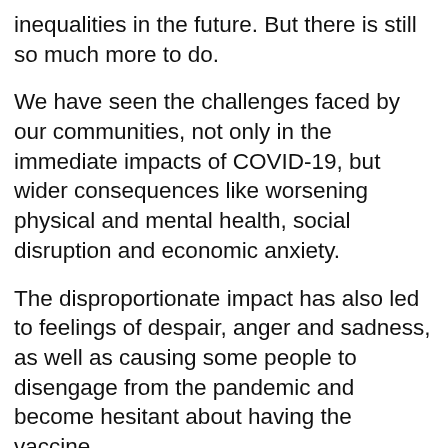inequalities in the future. But there is still so much more to do.
We have seen the challenges faced by our communities, not only in the immediate impacts of COVID-19, but wider consequences like worsening physical and mental health, social disruption and economic anxiety.
The disproportionate impact has also led to feelings of despair, anger and sadness, as well as causing some people to disengage from the pandemic and become hesitant about having the vaccine.